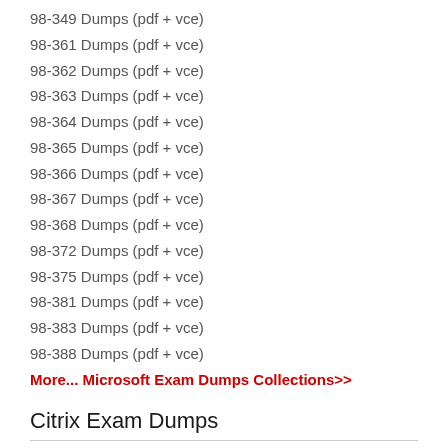98-349 Dumps (pdf + vce)
98-361 Dumps (pdf + vce)
98-362 Dumps (pdf + vce)
98-363 Dumps (pdf + vce)
98-364 Dumps (pdf + vce)
98-365 Dumps (pdf + vce)
98-366 Dumps (pdf + vce)
98-367 Dumps (pdf + vce)
98-368 Dumps (pdf + vce)
98-372 Dumps (pdf + vce)
98-375 Dumps (pdf + vce)
98-381 Dumps (pdf + vce)
98-383 Dumps (pdf + vce)
98-388 Dumps (pdf + vce)
More... Microsoft Exam Dumps Collections>>
Citrix Exam Dumps